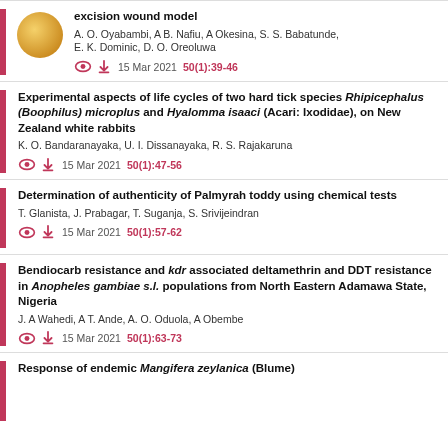excision wound model
A. O. Oyabambi, A B. Nafiu, A Okesina, S. S. Babatunde, E. K. Dominic, D. O. Oreoluwa
15 Mar 2021 50(1):39-46
Experimental aspects of life cycles of two hard tick species Rhipicephalus (Boophilus) microplus and Hyalomma isaaci (Acari: Ixodidae), on New Zealand white rabbits
K. O. Bandaranayaka, U. I. Dissanayaka, R. S. Rajakaruna
15 Mar 2021 50(1):47-56
Determination of authenticity of Palmyrah toddy using chemical tests
T. Glanista, J. Prabagar, T. Suganja, S. Srivijeindran
15 Mar 2021 50(1):57-62
Bendiocarb resistance and kdr associated deltamethrin and DDT resistance in Anopheles gambiae s.l. populations from North Eastern Adamawa State, Nigeria
J. A Wahedi, A T. Ande, A. O. Oduola, A Obembe
15 Mar 2021 50(1):63-73
Response of endemic Mangifera zeylanica (Blume)